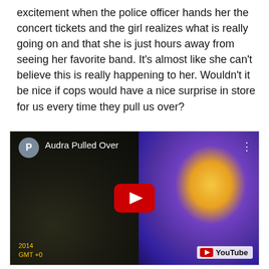excitement when the police officer hands her the concert tickets and the girl realizes what is really going on and that she is just hours away from seeing her favorite band. It's almost like she can't believe this is really happening to her. Wouldn't it be nice if cops would have a nice surprise in store for us every time they pull us over?
[Figure (screenshot): YouTube video thumbnail showing a girl with blonde hair in a blue/purple jacket sitting in a car, viewed from outside. The video is titled 'Audra Pulled Over'. A red YouTube play button is centered on the image. The YouTube logo watermark appears in the bottom right. A timestamp '2014 GMT +0' is visible in the bottom left.]